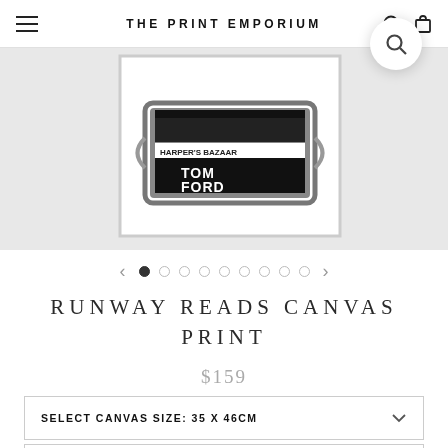THE PRINT EMPORIUM
[Figure (photo): Black and white photograph of stacked fashion books and magazines including Tom Ford book and Harper's Bazaar, displayed in a decorative tray, framed in white]
RUNWAY READS CANVAS PRINT
$159
SELECT CANVAS SIZE: 35 x 46cm
SELECT CANVAS FRAMING OPTION